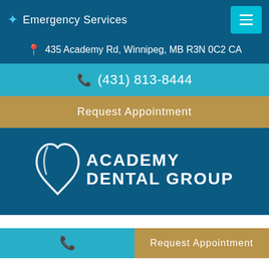Emergency Services
435 Academy Rd, Winnipeg, MB R3N 0C2 CA
(431) 813-8444
Request Appointment
[Figure (logo): Academy Dental Group logo with tooth icon]
The Academy Dental
Request Appointment